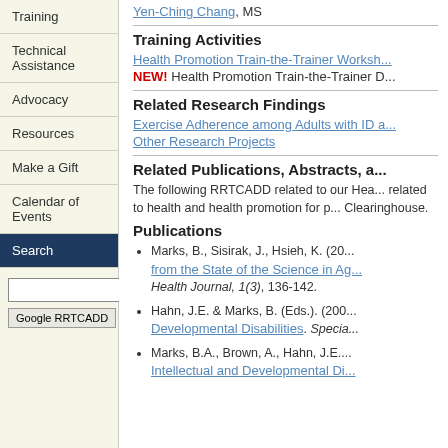Training
Technical Assistance
Advocacy
Resources
Make a Gift
Calendar of Events
Search
Google RRTCADD
Yen-Ching Chang, MS
Training Activities
Health Promotion Train-the-Trainer Worksh...
NEW! Health Promotion Train-the-Trainer D...
Related Research Findings
Exercise Adherence among Adults with ID a...
Other Research Projects
Related Publications, Abstracts, a...
The following RRTCADD related to our Hea... related to health and health promotion for p... Clearinghouse.
Publications
Marks, B., Sisirak, J., Hsieh, K. (20... from the State of the Science in Ag... Health Journal, 1(3), 136-142.
Hahn, J.E. & Marks, B. (Eds.). (200... Developmental Disabilities. Specia...
Marks, B.A., Brown, A., Hahn, J.E.... Intellectual and Developmentally Di...